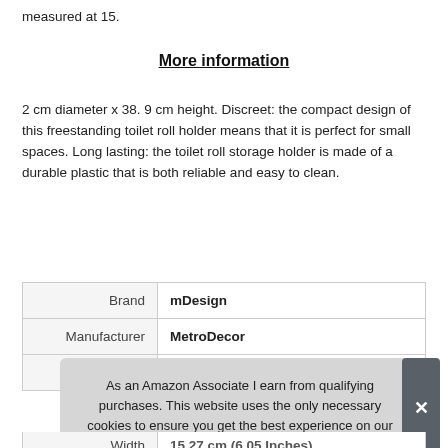measured at 15.
More information
2 cm diameter x 38. 9 cm height. Discreet: the compact design of this freestanding toilet roll holder means that it is perfect for small spaces. Long lasting: the toilet roll storage holder is made of a durable plastic that is both reliable and easy to clean.
|  |  |
| --- | --- |
| Brand | mDesign |
| Manufacturer | MetroDecor |
| Width | 15.27 cm (6.05 Inches) |
As an Amazon Associate I earn from qualifying purchases. This website uses the only necessary cookies to ensure you get the best experience on our website. More information